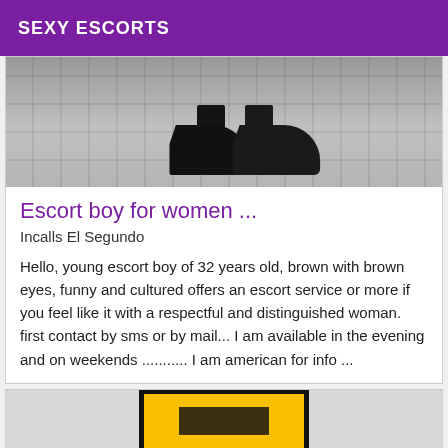SEXY ESCORTS
[Figure (photo): Close-up photo of a person's legs in dark trousers and black leather shoes standing on a tiled pavement/sidewalk.]
Escort boy for women ...
Incalls El Segundo
Hello, young escort boy of 32 years old, brown with brown eyes, funny and cultured offers an escort service or more if you feel like it with a respectful and distinguished woman. first contact by sms or by mail... I am available in the evening and on weekends ............ I am american for info ...
[Figure (photo): Photo of a yellow and black sign/book or object on a white surface, partially visible at the bottom of the page.]